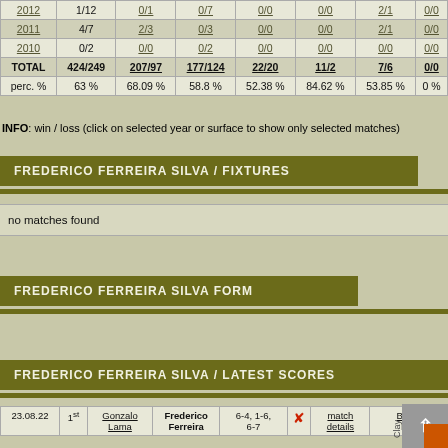| Year | Overall | Hard | Clay | Grass | Carpet | Indoor | Outdoor |
| --- | --- | --- | --- | --- | --- | --- | --- |
| 2012 | 1/12 | 0/1 | 0/7 | 0/0 | 0/0 | 2/1 | 0/0 |
| 2011 | 4/7 | 2/3 | 0/3 | 0/0 | 0/0 | 2/1 | 0/0 |
| 2010 | 0/2 | 0/0 | 0/2 | 0/0 | 0/0 | 0/0 | 0/0 |
| TOTAL | 424/249 | 207/97 | 177/124 | 22/20 | 11/2 | 7/6 | 0/0 |
| perc. % | 63 % | 68.09 % | 58.8 % | 52.38 % | 84.62 % | 53.85 % | 0 % |
INFO: win / loss (click on selected year or surface to show only selected matches)
FREDERICO FERREIRA SILVA / FIXTURES
no matches found
FREDERICO FERREIRA SILVA FORM
FREDERICO FERREIRA SILVA / LATEST SCORES
| Date | Round | Opponent | Player | Score |  | Details | Tournament |
| --- | --- | --- | --- | --- | --- | --- | --- |
| 23.08.22 | 1st | Gonzalo Lama | Frederico Ferreira | 6-4, 1-6, 6-7 |  | match details | Banja Luka | Clay |